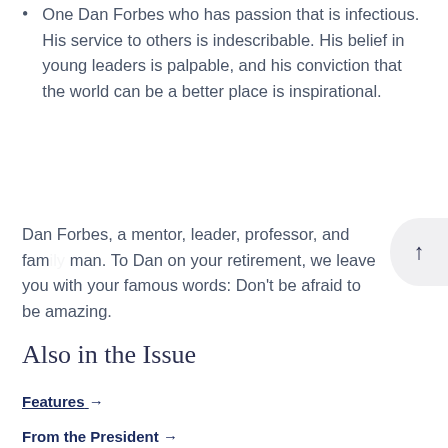One Dan Forbes who has passion that is infectious. His service to others is indescribable. His belief in young leaders is palpable, and his conviction that the world can be a better place is inspirational.
Dan Forbes, a mentor, leader, professor, and family man. To Dan on your retirement, we leave you with your famous words: Don't be afraid to be amazing.
Also in the Issue
Features →
From the President →